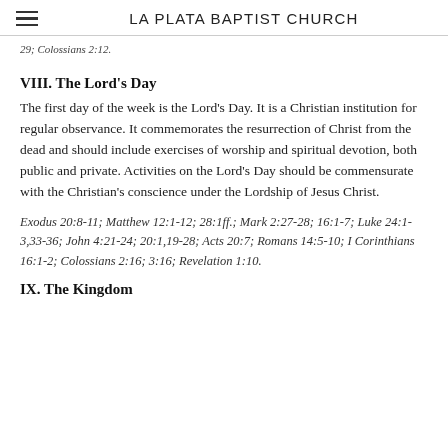LA PLATA BAPTIST CHURCH
29; Colossians 2:12.
VIII. The Lord's Day
The first day of the week is the Lord's Day. It is a Christian institution for regular observance. It commemorates the resurrection of Christ from the dead and should include exercises of worship and spiritual devotion, both public and private. Activities on the Lord's Day should be commensurate with the Christian's conscience under the Lordship of Jesus Christ.
Exodus 20:8-11; Matthew 12:1-12; 28:1ff.; Mark 2:27-28; 16:1-7; Luke 24:1-3,33-36; John 4:21-24; 20:1,19-28; Acts 20:7; Romans 14:5-10; I Corinthians 16:1-2; Colossians 2:16; 3:16; Revelation 1:10.
IX. The Kingdom